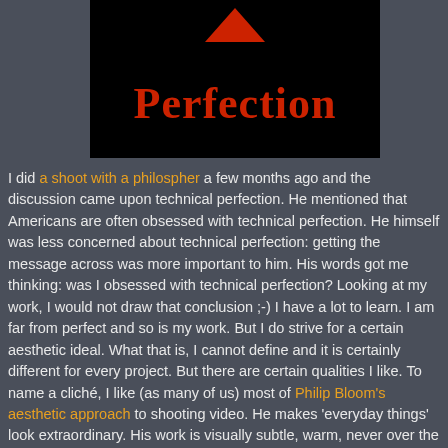[Figure (illustration): Black background image with a red downward-pointing triangle/arrow at the top and the word 'Perfection' in large red serif text below it]
I did a shoot with a philospher a few months ago and the discussion came upon technical perfection. He mentioned that Americans are often obsessed with technical perfection. He himself was less concerned about technical perfection: getting the message across was more important to him. His words got me thinking: was I obsessed with technical perfection? Looking at my work, I would not draw that conclusion ;-) I have a lot to learn. I am far from perfect and so is my work. But I do strive for a certain aesthetic ideal. What that is, I cannot define and it is certainly different for every project. But there are certain qualities I like. To name a cliché, I like (as many of us) most of Philip Bloom's aesthetic approach to shooting video. He makes 'everyday things' look extraordinary. His work is visually subtle, warm, never over the top. And most importantly, it is 'real'. In the sense that it is not contrived. It stems from genuine curiosity. But I'm